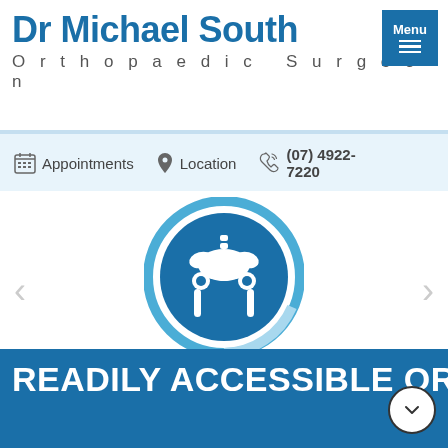Dr Michael South
Orthopaedic Surgeon
Appointments   Location   (07) 4922-7220
[Figure (illustration): Hip anatomy icon: white pelvis and hip replacement illustration inside a dark blue circle with a lighter blue ring border]
HIP
READILY ACCESSIBLE ORTHOPAEDIC